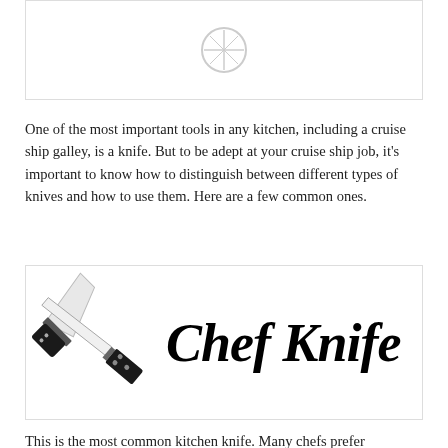[Figure (photo): Top image box with a faint icon placeholder, partially visible at top of page]
One of the most important tools in any kitchen, including a cruise ship galley, is a knife. But to be adept at your cruise ship job, it's important to know how to distinguish between different types of knives and how to use them. Here are a few common ones.
[Figure (illustration): Image box showing a chef's knife illustration on the left and the text 'Chef Knife' in large decorative script on the right]
This is the most common kitchen knife. Many chefs prefer